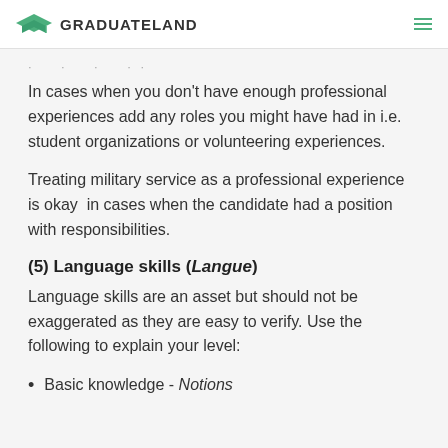GRADUATELAND
· · ·
In cases when you don't have enough professional experiences add any roles you might have had in i.e. student organizations or volunteering experiences.
Treating military service as a professional experience is okay  in cases when the candidate had a position with responsibilities.
(5) Language skills (Langue)
Language skills are an asset but should not be exaggerated as they are easy to verify. Use the following to explain your level:
Basic knowledge - Notions